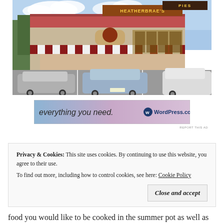[Figure (photo): Exterior photograph of Heatherbrae's Pies restaurant/shop building with red roof, striped awning, and cars parked in the foreground. A sign reads 'HEATHERBRAE'S PIES'.]
[Figure (infographic): WordPress.com advertisement banner with gradient background reading 'everything you need.' with the WordPress.com logo on the right side.]
REPORT THIS AD
Privacy & Cookies: This site uses cookies. By continuing to use this website, you agree to their use. To find out more, including how to control cookies, see here: Cookie Policy
food you would like to be cooked in the summer pot as well as